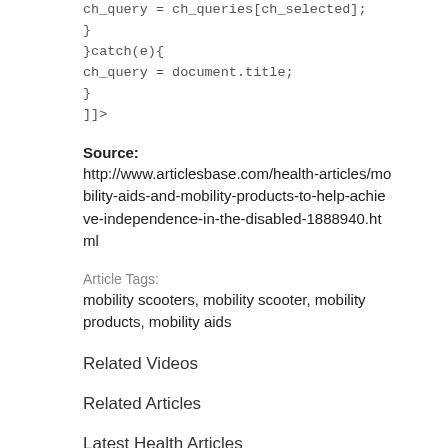ch_query = ch_queries[ch_selected];
}
}catch(e){
ch_query = document.title;
}
]]>
Source:
http://www.articlesbase.com/health-articles/mobility-aids-and-mobility-products-to-help-achieve-independence-in-the-disabled-1888940.html
Article Tags:
mobility scooters, mobility scooter, mobility products, mobility aids
Related Videos
Related Articles
Latest Health Articles